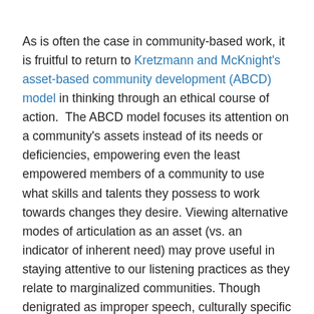As is often the case in community-based work, it is fruitful to return to Kretzmann and McKnight's asset-based community development (ABCD) model in thinking through an ethical course of action.  The ABCD model focuses its attention on a community's assets instead of its needs or deficiencies, empowering even the least empowered members of a community to use what skills and talents they possess to work towards changes they desire. Viewing alternative modes of articulation as an asset (vs. an indicator of inherent need) may prove useful in staying attentive to our listening practices as they relate to marginalized communities. Though denigrated as improper speech, culturally specific modes of articulation convey meaning in their distance from the norm. These modes of articulation are complex in their practical and historical constitutions. But their distance alone does not give